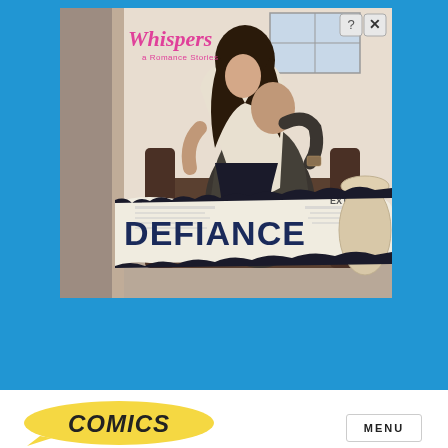[Figure (illustration): Advertisement for 'Whispers' romance stories app featuring a couple in an intimate pose in an office setting, with the title 'DEFIANCE' displayed on a torn newspaper graphic in the lower portion of the image. The Whispers logo appears in the top-left corner. Close (X) and help (?) buttons are in the top-right corner.]
[Figure (logo): Comics logo in yellow speech bubble shape with italic text 'COMICS']
MENU